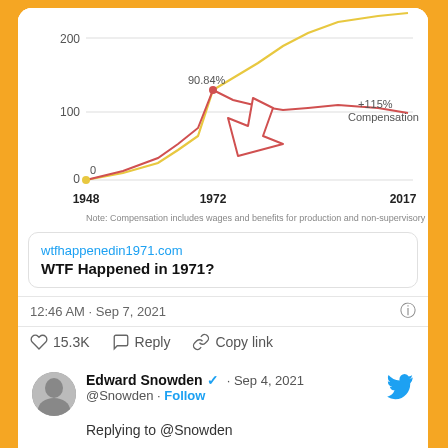[Figure (line-chart): Productivity vs Compensation]
Note: Compensation includes wages and benefits for production and non-supervisory
wtfhappenedin1971.com
WTF Happened in 1971?
12:46 AM · Sep 7, 2021
15.3K   Reply   Copy link
Read 570 replies
Edward Snowden · Sep 4, 2021
@Snowden · Follow
Replying to @Snowden